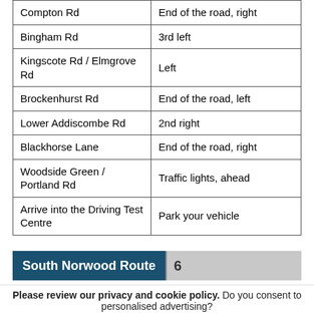| Compton Rd | End of the road, right |
| Bingham Rd | 3rd left |
| Kingscote Rd / Elmgrove Rd | Left |
| Brockenhurst Rd | End of the road, left |
| Lower Addiscombe Rd | 2nd right |
| Blackhorse Lane | End of the road, right |
| Woodside Green / Portland Rd | Traffic lights, ahead |
| Arrive into the Driving Test Centre | Park your vehicle |
South Norwood Route 6
Please review our privacy and cookie policy. Do you consent to personalised advertising? Yes No